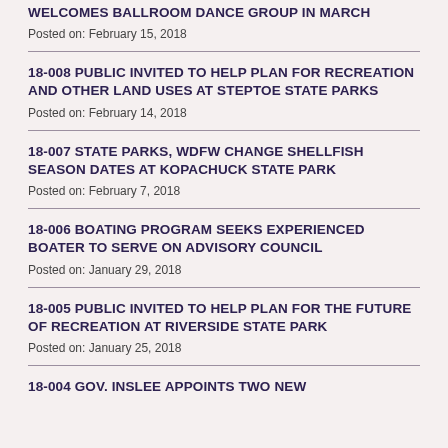WELCOMES BALLROOM DANCE GROUP IN MARCH
Posted on: February 15, 2018
18-008 PUBLIC INVITED TO HELP PLAN FOR RECREATION AND OTHER LAND USES AT STEPTOE STATE PARKS
Posted on: February 14, 2018
18-007 STATE PARKS, WDFW CHANGE SHELLFISH SEASON DATES AT KOPACHUCK STATE PARK
Posted on: February 7, 2018
18-006 BOATING PROGRAM SEEKS EXPERIENCED BOATER TO SERVE ON ADVISORY COUNCIL
Posted on: January 29, 2018
18-005 PUBLIC INVITED TO HELP PLAN FOR THE FUTURE OF RECREATION AT RIVERSIDE STATE PARK
Posted on: January 25, 2018
18-004 GOV. INSLEE APPOINTS TWO NEW